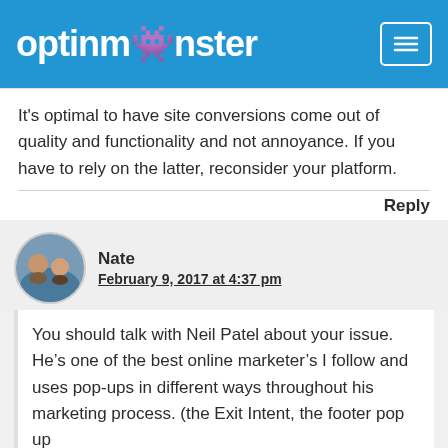optinmonster
It's optimal to have site conversions come out of quality and functionality and not annoyance. If you have to rely on the latter, reconsider your platform.
Reply
Nate
February 9, 2017 at 4:37 pm
You should talk with Neil Patel about your issue. He’s one of the best online marketer’s I follow and uses pop-ups in different ways throughout his marketing process. (the Exit Intent, the footer pop up